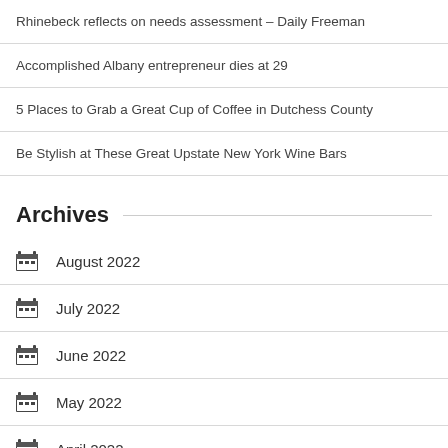Rhinebeck reflects on needs assessment – Daily Freeman
Accomplished Albany entrepreneur dies at 29
5 Places to Grab a Great Cup of Coffee in Dutchess County
Be Stylish at These Great Upstate New York Wine Bars
Archives
August 2022
July 2022
June 2022
May 2022
April 2022
March 2022